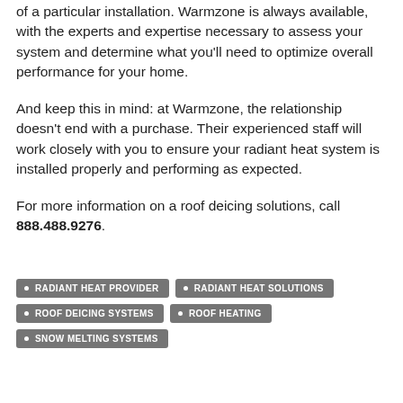of a particular installation. Warmzone is always available, with the experts and expertise necessary to assess your system and determine what you'll need to optimize overall performance for your home.
And keep this in mind: at Warmzone, the relationship doesn't end with a purchase. Their experienced staff will work closely with you to ensure your radiant heat system is installed properly and performing as expected.
For more information on a roof deicing solutions, call 888.488.9276.
RADIANT HEAT PROVIDER
RADIANT HEAT SOLUTIONS
ROOF DEICING SYSTEMS
ROOF HEATING
SNOW MELTING SYSTEMS